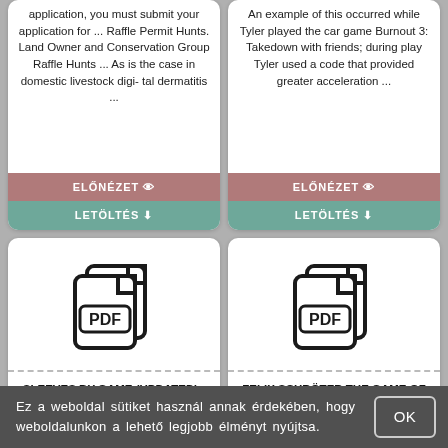application, you must submit your application for ... Raffle Permit Hunts. Land Owner and Conservation Group Raffle Hunts ... As is the case in domestic livestock digi- tal dermatitis ...
ELŐNÉZET
LETÖLTÉS
An example of this occurred while Tyler played the car game Burnout 3: Takedown with friends; during play Tyler used a code that provided greater acceleration ...
ELŐNÉZET
LETÖLTÉS
[Figure (illustration): PDF file icon (two overlapping document pages with PDF label)]
SLEEVES BY GAME (UPDATED) - LIVE - TOKO BOARD GAME
Naruto Shippuden Deck-Building Game. 221. 63. 88. Card Game
[Figure (illustration): PDF file icon (two overlapping document pages with PDF label)]
FELIX SCHRÖTER THE GAME OF GAME OF THRONES ... - SEMANTIC SCHOLAR
the browser game Game of Thrones
Ez a weboldal sütiket használ annak érdekében, hogy weboldalunkon a lehető legjobb élményt nyújtsa.
OK